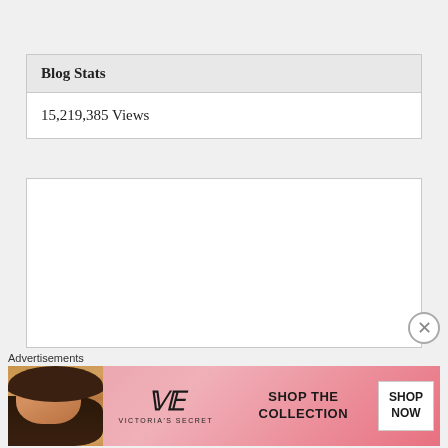Blog Stats
15,219,385 Views
[Figure (other): Empty white content box widget area]
Advertisements
[Figure (photo): Victoria's Secret advertisement banner with model, VS logo, 'SHOP THE COLLECTION' text, and 'SHOP NOW' button]